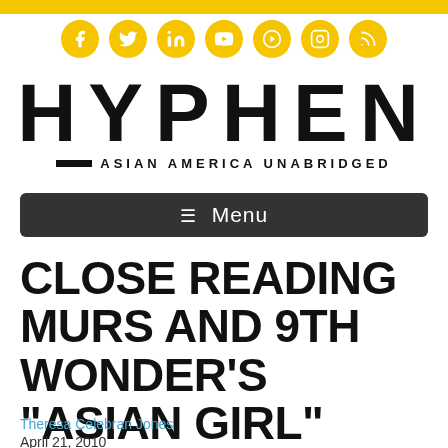[Figure (logo): Hyphen Magazine logo with social media icons and yellow bar at top]
CLOSE READING MURS AND 9TH WONDER'S "ASIAN GIRL"
Theresa Celebran Jones
April 21, 2010